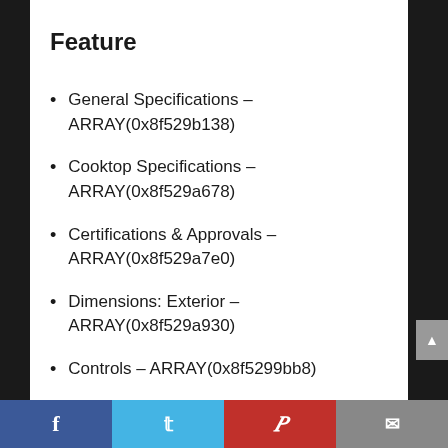Feature
General Specifications – ARRAY(0x8f529b138)
Cooktop Specifications – ARRAY(0x8f529a678)
Certifications & Approvals – ARRAY(0x8f529a7e0)
Dimensions: Exterior – ARRAY(0x8f529a930)
Controls – ARRAY(0x8f5299bb8)
Facebook | Twitter | Pinterest | Email